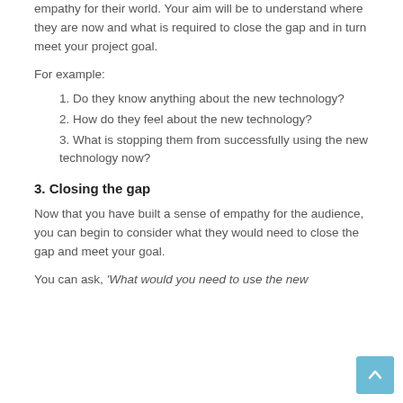empathy for their world. Your aim will be to understand where they are now and what is required to close the gap and in turn meet your project goal.
For example:
1. Do they know anything about the new technology?
2. How do they feel about the new technology?
3. What is stopping them from successfully using the new technology now?
3. Closing the gap
Now that you have built a sense of empathy for the audience, you can begin to consider what they would need to close the gap and meet your goal.
You can ask, 'What would you need to use the new